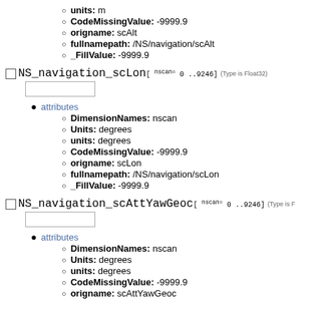units: m
CodeMissingValue: -9999.9
origname: scAlt
fullnamepath: /NS/navigation/scAlt
_FillValue: -9999.9
NS_navigation_scLon[ nscan= 0 ..9246] (Type is Float32)
attributes
DimensionNames: nscan
Units: degrees
units: degrees
CodeMissingValue: -9999.9
origname: scLon
fullnamepath: /NS/navigation/scLon
_FillValue: -9999.9
NS_navigation_scAttYawGeoc[ nscan= 0 ..9246] (Type is ...
attributes
DimensionNames: nscan
Units: degrees
units: degrees
CodeMissingValue: -9999.9
origname: scAttYawGeoc